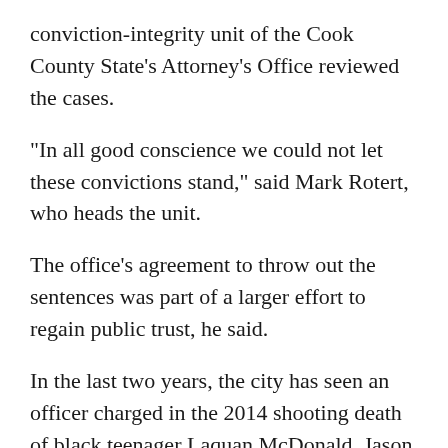conviction-integrity unit of the Cook County State's Attorney's Office reviewed the cases.
"In all good conscience we could not let these convictions stand," said Mark Rotert, who heads the unit.
The office's agreement to throw out the sentences was part of a larger effort to regain public trust, he said.
In the last two years, the city has seen an officer charged in the 2014 shooting death of black teenager Laquan McDonald. Jason Van Dyke is the first Chicago officer in decades to be charged with first-degree murder in an on-duty killing.
Just this week, prosecutors announced they would not retry two men who have long maintained their